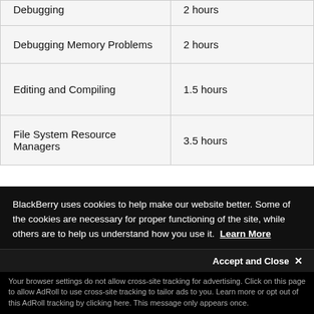| Topic | Duration |
| --- | --- |
| Debugging | 2 hours |
| Debugging Memory Problems | 2 hours |
| Editing and Compiling | 1.5 hours |
| File System Resource Managers | 3.5 hours |
BlackBerry uses cookies to help make our website better. Some of the cookies are necessary for proper functioning of the site, while others are to help us understand how you use it. Learn More
Accept and Close ✕
Your browser settings do not allow cross-site tracking for advertising. Click on this page to allow AdRoll to use cross-site tracking to tailor ads to you. Learn more or opt out of this AdRoll tracking by clicking here. This message only appears once.